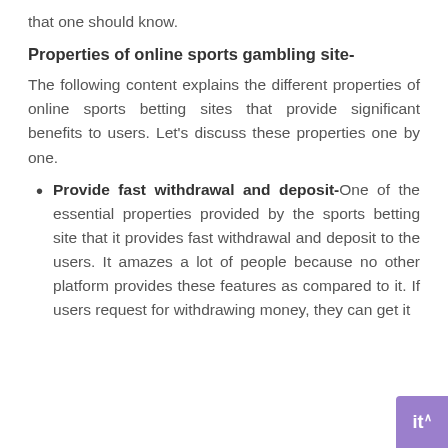that one should know.
Properties of online sports gambling site-
The following content explains the different properties of online sports betting sites that provide significant benefits to users. Let's discuss these properties one by one.
Provide fast withdrawal and deposit- One of the essential properties provided by the sports betting site that it provides fast withdrawal and deposit to the users. It amazes a lot of people because no other platform provides these features as compared to it. If users request for withdrawing money, they can get it